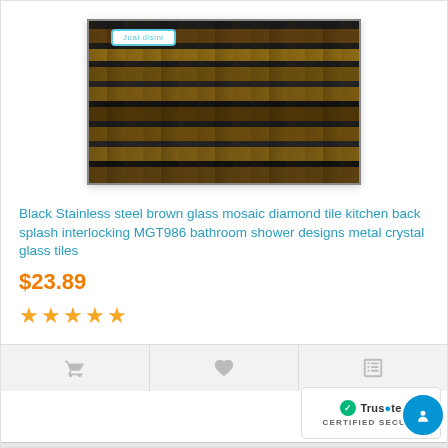[Figure (photo): Close-up photo of a black stainless steel brown glass mosaic diamond tile with interlocking pattern, showing dark and earth-tone rectangular tiles arranged in rows]
Black Stainless steel brown glass mosaic diamond tile kitchen back splash interlocking MGT986 bathroom shower designs metal crystal glass tiles
$23.89
[Figure (other): Five gold star rating icons]
[Figure (other): Action bar with cart icon, heart/wishlist icon, and compare icon]
[Figure (logo): Trustpilot certified secure badge with green checkmark and blue circle icon]